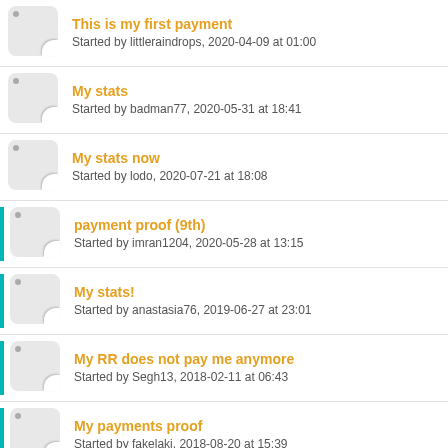This is my first payment
Started by littleraindrops, 2020-04-09 at 01:00
My stats
Started by badman77, 2020-05-31 at 18:41
My stats now
Started by lodo, 2020-07-21 at 18:08
payment proof (9th)
Started by imran1204, 2020-05-28 at 13:15
My stats!
Started by anastasia76, 2019-06-27 at 23:01
My RR does not pay me anymore
Started by Segh13, 2018-02-11 at 06:43
My payments proof
Started by fakelaki, 2018-08-20 at 15:39
my payment proof
Started by ABDULRAB850, 2019-04-22 at 12:58